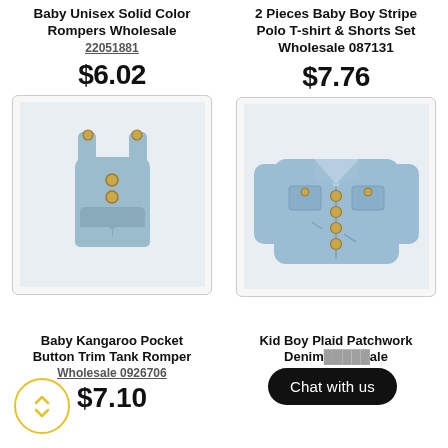Baby Unisex Solid Color Rompers Wholesale 22051881
$6.02
[Figure (photo): Light blue baby romper with buttons]
2 Pieces Baby Boy Stripe Polo T-shirt & Shorts Set Wholesale 087131
$7.76
[Figure (photo): Light blue denim baby jacket]
Baby Kangaroo Pocket Button Trim Tank Romper Wholesale 0926706
$7.10
Kid Boy Plaid Patchwork Denim Wholesale
$8.16
Chat with us